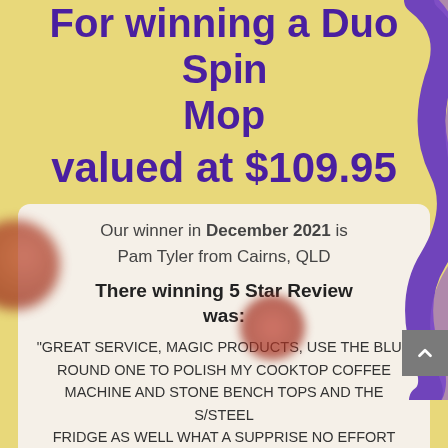For winning a Duo Spin Mop valued at $109.95
Our winner in December 2021 is Pam Tyler from Cairns, QLD
There winning 5 Star Review was:
"GREAT SERVICE, MAGIC PRODUCTS, USE THE BLUE ROUND ONE TO POLISH MY COOKTOP COFFEE MACHINE AND STONE BENCH TOPS AND THE S/STEEL FRIDGE AS WELL WHAT A SUPPRISE NO EFFORT FOR